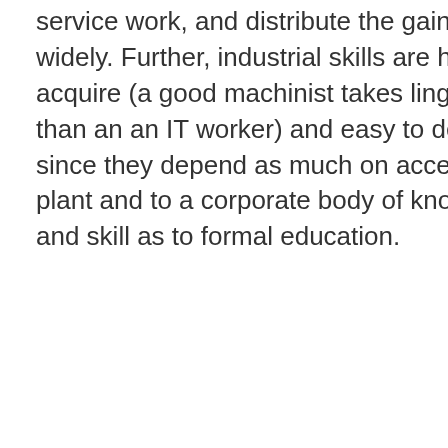service work, and distribute the gains more widely. Further, industrial skills are hard to acquire (a good machinist takes linger to train than an an IT worker) and easy to degrade - since they depend as much on access to the plant and to a corporate body of knowledge and skill as to formal education.
So given that life is uncertain, and that power is unequal, and the downsides of maldistribution are - over some longer timeframe - much greater than the upside - it makes a great deal of sense to build a b...